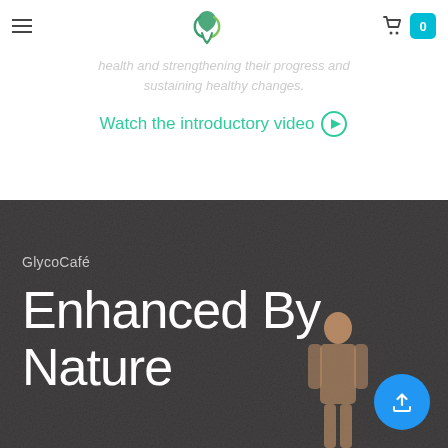Navigation bar with hamburger menu, logo, cart icon and badge (0)
health and strengthening their progress and sustaining healthy changes.
Watch the introductory video ▶
[Figure (screenshot): Dark textured background section for GlycoCafé product page]
GlycoCafé
Enhanced By Nature